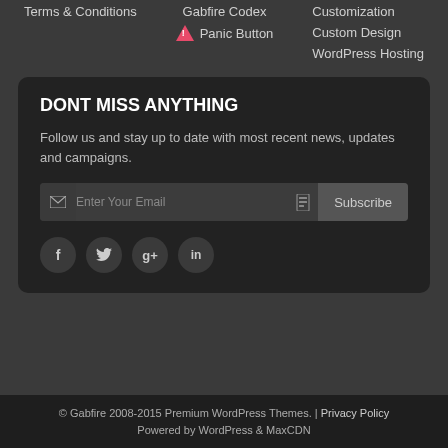Terms & Conditions
Gabfire Codex
Panic Button
Customization
Custom Design
WordPress Hosting
DONT MISS ANYTHING
Follow us and stay up to date with most recent news, updates and campaigns.
Enter Your Email  Subscribe
[Figure (infographic): Social media icons: Facebook (f), Twitter (bird/t), Google+ (g+), LinkedIn (in)]
© Gabfire 2008-2015 Premium WordPress Themes. | Privacy Policy
Powered by WordPress & MaxCDN